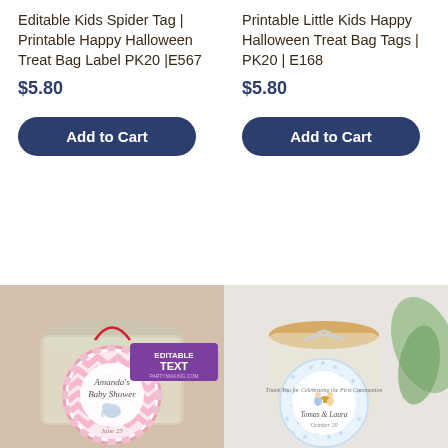Editable Kids Spider Tag | Printable Happy Halloween Treat Bag Label PK20 |E567
$5.80
Add to Cart
Printable Little Kids Happy Halloween Treat Bag Tags | PK20 | E168
$5.80
Add to Cart
[Figure (photo): Baby shower favor jar with round pink chevron tag reading Amanda's Baby Shower, June 25, with elephant illustration. Purple EDITABLE TEXT banner in corner.]
[Figure (photo): First communion favor jar with gold lid, white ribbon, and round polka dot tag reading Thomas & Laura, October 20, with boy and girl illustration.]